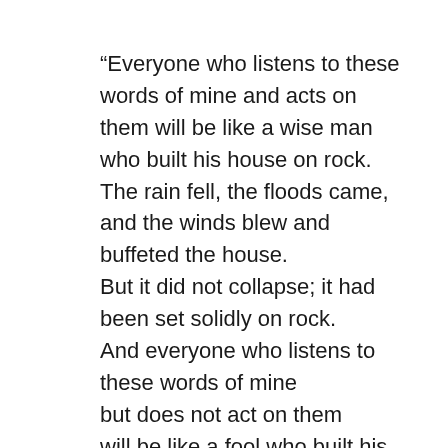“Everyone who listens to these words of mine and acts on them will be like a wise man who built his house on rock. The rain fell, the floods came, and the winds blew and buffeted the house. But it did not collapse; it had been set solidly on rock. And everyone who listens to these words of mine but does not act on them will be like a fool who built his house